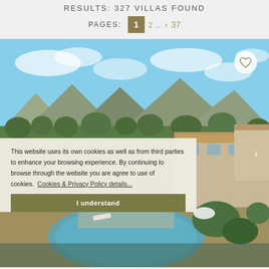RESULTS: 327 VILLAS FOUND
PAGES: 1  2 ...  >  37
[Figure (photo): Aerial/elevated view of a luxury villa with a pool, Mediterranean landscape, mountains in background, blue sky with clouds]
This website uses its own cookies as well as from third parties to enhance your browsing experience. By continuing to browse through the website you are agree to use of cookies.  Cookies & Privacy Policy details...
I understand